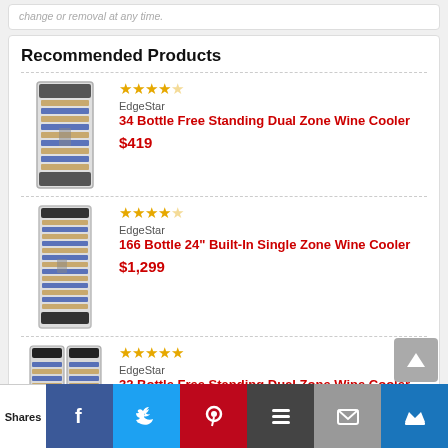change or removal at any time.
Recommended Products
[Figure (photo): 34 Bottle Free Standing Dual Zone Wine Cooler product photo]
EdgeStar
34 Bottle Free Standing Dual Zone Wine Cooler
$419
[Figure (photo): 166 Bottle 24" Built-In Single Zone Wine Cooler product photo]
EdgeStar
166 Bottle 24" Built-In Single Zone Wine Cooler
$1,299
[Figure (photo): 32 Bottle Free Standing Dual Zone Wine Cooler w/ French Doors product photo]
EdgeStar
32 Bottle Free Standing Dual Zone Wine Cooler w/ French Doors
$428
[Figure (photo): Partially visible 4th wine cooler product photo]